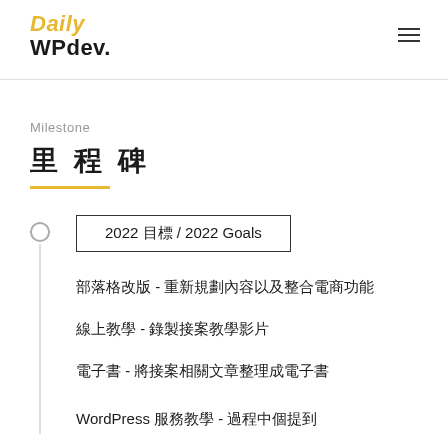Daily WPdev.
Milestone
里程碑
2022 目標 / 2022 Goals
部落格改版 - 重新規劃內容以及整合電商功能
線上教學 - 錄製接案教學影片
電子書 - 將接案相關文章整理成電子書
WordPress 服務教學 - 過程中個提到